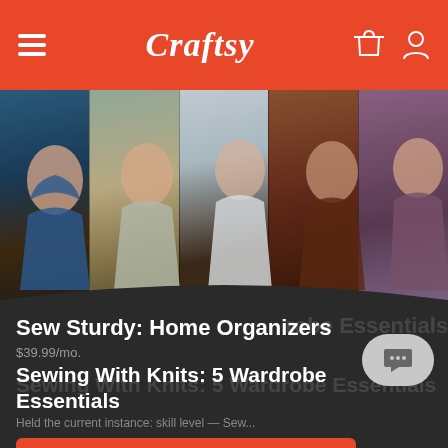Craftsy
[Figure (photo): Five women modeling handmade knit clothing in outdoor settings. From left: woman in blue hoodie, woman in gray knit top with necklace, woman in white short-sleeve shirt, woman in brown v-neck top, woman in purple empire-waist top.]
Sew Sturdy: Home Organizers
$39.99/mo.
Sewing With Knits: 5 Wardrobe Essentials
Held the current instance: skill level...
GET CLASS ACCESS
...sewing dress with Mary-Kate access / Recorded